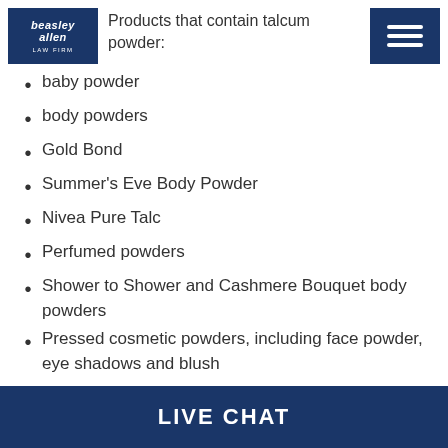Products that contain talcum powder:
[Figure (logo): Beasley Allen Law Firm logo — dark navy blue square with white text reading 'beasley allen LAW FIRM' in italic style]
baby powder
body powders
Gold Bond
Summer's Eve Body Powder
Nivea Pure Talc
Perfumed powders
Shower to Shower and Cashmere Bouquet body powders
Pressed cosmetic powders, including face powder, eye shadows and blush
Some deodorants
Some condoms and diaphragms
LIVE CHAT